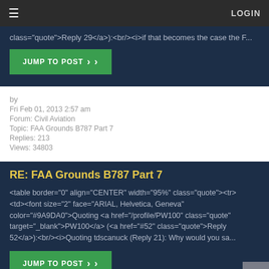LOGIN
class="quote">Reply 29</a>):<br/><i>if that becomes the case the F...
JUMP TO POST
by
Fri Feb 01, 2013 2:57 am
Forum: Civil Aviation
Topic: FAA Grounds B787 Part 7
Replies: 213
Views: 34803
RE: FAA Grounds B787 Part 7
<table border="0" align="CENTER" width="95%" class="quote"><tr><td><font size="2" face="ARIAL, Helvetica, Geneva" color="#9A9DA0">Quoting <a href="/profile/PW100" class="quote" target="_blank">PW100</a> (<a href="#52" class="quote">Reply 52</a>):<br/><i>Quoting tdscanuck (Reply 21): Why would you sa...
JUMP TO POST
by
Fri Feb 01, 2013 2:46 am
Forum: Civil Aviation